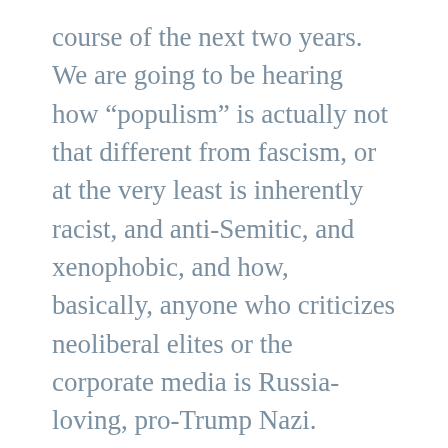course of the next two years. We are going to be hearing how “populism” is actually not that different from fascism, or at the very least is inherently racist, and anti-Semitic, and xenophobic, and how, basically, anyone who criticizes neoliberal elites or the corporate media is Russia-loving, pro-Trump Nazi.
And this is where this “Trumpenleft” malarkey fits into the ruling classes’ broader campaign to eliminate any kind of critical thinking and force people to mindlessly root for their “team.” See, the problem with us